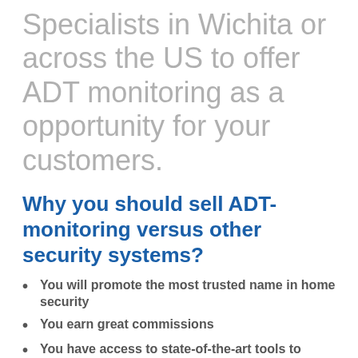Specialists in Wichita or across the US to offer ADT monitoring as a opportunity for your customers.
Why you should sell ADT-monitoring versus other security systems?
You will promote the most trusted name in home security
You earn great commissions
You have access to state-of-the-art tools to improve your sales
Secure Home Specialists tries to provide the most